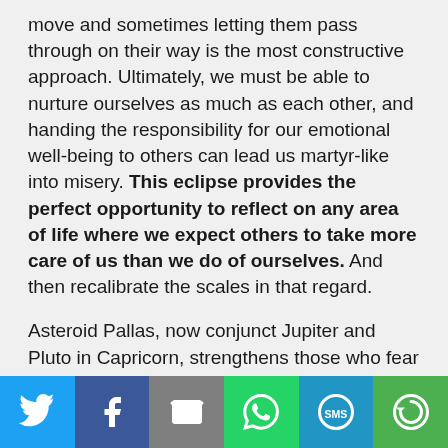move and sometimes letting them pass through on their way is the most constructive approach. Ultimately, we must be able to nurture ourselves as much as each other, and handing the responsibility for our emotional well-being to others can lead us martyr-like into misery. This eclipse provides the perfect opportunity to reflect on any area of life where we expect others to take more care of us than we do of ourselves. And then recalibrate the scales in that regard.
Asteroid Pallas, now conjunct Jupiter and Pluto in Capricorn, strengthens those who fear the implications of facing up to the new reality unfolding around us. Events so far this year have raised more
[Figure (infographic): Social sharing bar with six buttons: Twitter (blue bird icon), Facebook (dark blue f icon), Email (gray envelope icon), WhatsApp (green phone icon), SMS (blue SMS icon), More (green circular arrow icon)]